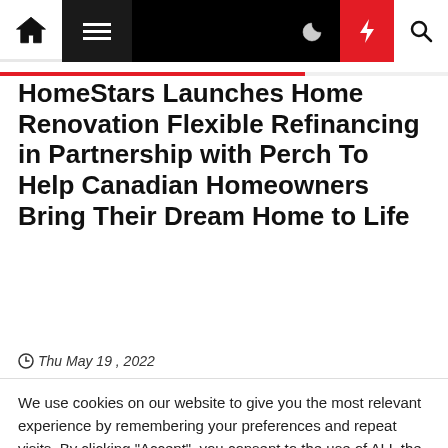Navigation bar with home, menu, moon, bolt, and search icons
HomeStars Launches Home Renovation Flexible Refinancing in Partnership with Perch To Help Canadian Homeowners Bring Their Dream Home to Life
Thu May 19 , 2022
We use cookies on our website to give you the most relevant experience by remembering your preferences and repeat visits. By clicking “Accept”, you consent to the use of ALL the cookies.
Cookie settings   ACCEPT